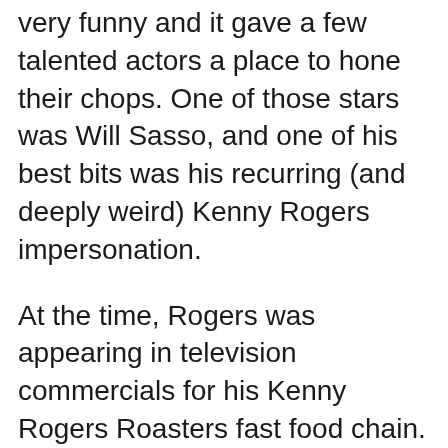very funny and it gave a few talented actors a place to hone their chops. One of those stars was Will Sasso, and one of his best bits was his recurring (and deeply weird) Kenny Rogers impersonation.
At the time, Rogers was appearing in television commercials for his Kenny Rogers Roasters fast food chain. With a zonked-out, heavily slurred demeanor, the singer was ripe for parody. Sasso incarnated his cloudy, bearded persona into some deeply